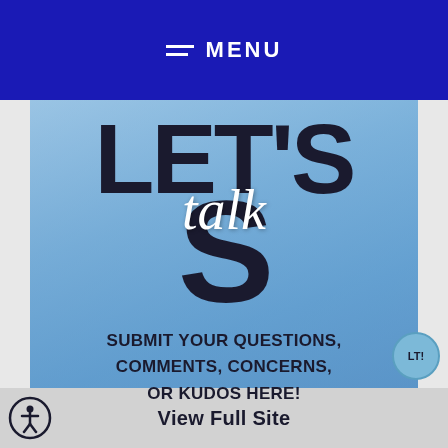MENU
[Figure (illustration): Blue-tinted promotional image with large bold text reading LET'S talk and subtitle SUBMIT YOUR QUESTIONS, COMMENTS, CONCERNS, OR KUDOS HERE!]
View Full Site